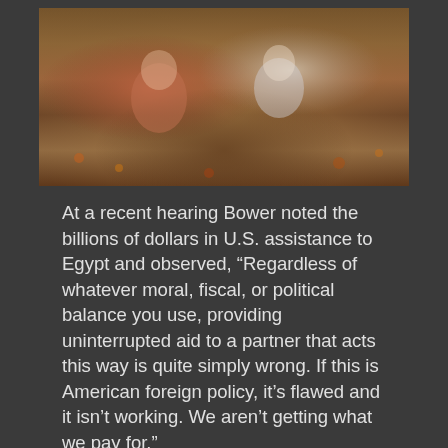[Figure (photo): Photograph of children and adult in outdoor autumn setting with fall leaves, partially cropped at top]
At a recent hearing Bower noted the billions of dollars in U.S. assistance to Egypt and observed, “Regardless of whatever moral, fiscal, or political balance you use, providing uninterrupted aid to a partner that acts this way is quite simply wrong. If this is American foreign policy, it’s flawed and it isn’t working. We aren’t getting what we pay for.”
Tragically, the Obama administration has limited itself to diplomatic requests for the return of the children. In the words of Bernard Aronson, former assistant secretary of state of inter-American affairs, “a diplomatic request for which there is no real consequence for refusal is simply a sophisticated form of begging.”
It is time for a new approach. That is why we have introduced H.R. 1951, the Sean and David Goldman Child Abduction Prevention and Return Act, which will institute